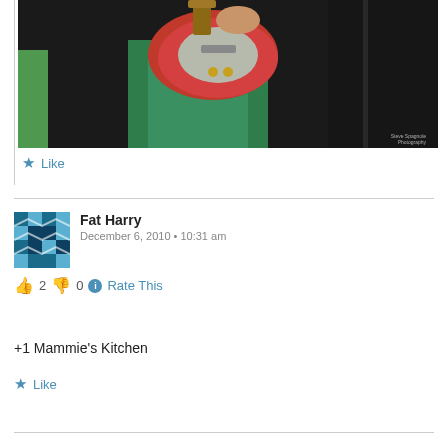[Figure (photo): Person holding a red Fender Stratocaster guitar, wearing green pants, at a music venue. Photo credit: Steve Spagnole Photography.]
★ Like
Fat Harry
December 6, 2010 • 10:31 am
👍 2 👎 0 ℹ Rate This
+1 Mammie's Kitchen
★ Like